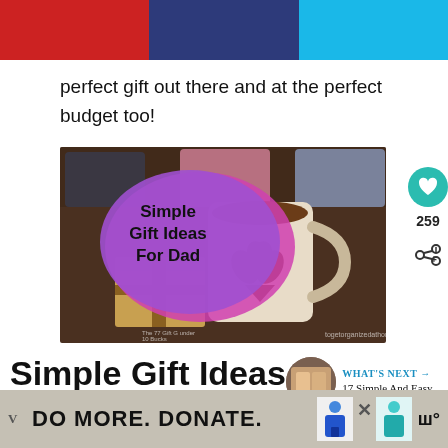perfect gift out there and at the perfect budget too!
[Figure (photo): Blog post image showing a coffee mug with a heart made of coffee beans, gift boxes, and colorful knitted ties in background. A pink-purple speech bubble overlay reads 'Simple Gift Ideas For Dad'. Social interaction icons (heart: 259, share) visible on the right side.]
Simple Gift Ideas
WHAT'S NEXT → 17 Simple And Easy...
[Figure (photo): DO MORE. DONATE. advertisement banner with two illustrated figures]
DO MORE. DONATE.